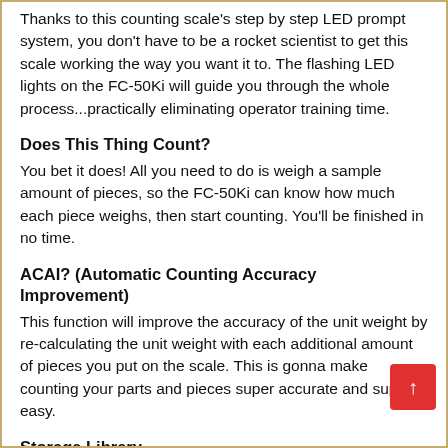Thanks to this counting scale's step by step LED prompt system, you don't have to be a rocket scientist to get this scale working the way you want it to. The flashing LED lights on the FC-50Ki will guide you through the whole process...practically eliminating operator training time.
Does This Thing Count?
You bet it does! All you need to do is weigh a sample amount of pieces, so the FC-50Ki can know how much each piece weighs, then start counting. You'll be finished in no time.
ACAI? (Automatic Counting Accuracy Improvement)
This function will improve the accuracy of the unit weight by re-calculating the unit weight with each additional amount of pieces you put on the scale. This is gonna make counting your parts and pieces super accurate and super easy.
Storage Library
If you weigh a lot of different items, this feature is sure to come in handy. The FC-i counting scales have a storage